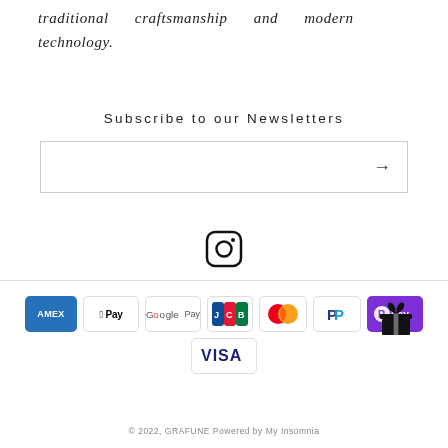traditional craftsmanship and modern technology.
Subscribe to our Newsletters
[Figure (other): Email subscription input box with right arrow button]
[Figure (other): Instagram icon (rounded square with circle and dot)]
[Figure (other): Payment method icons: American Express, Apple Pay, Google Pay, JCB, Mastercard, PayPal, R Pay, Visa, and a gift icon]
© 2022, GRAFUNE Powered by My Insomnia